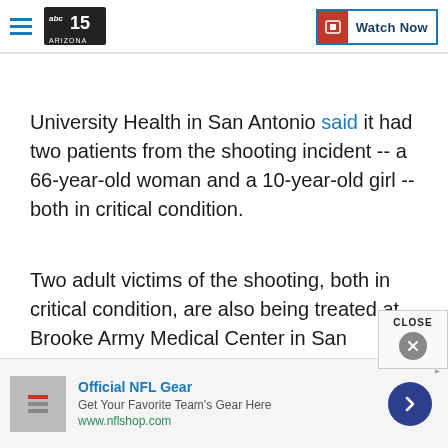abc15 Arizona — Watch Now
University Health in San Antonio said it had two patients from the shooting incident -- a 66-year-old woman and a 10-year-old girl -- both in critical condition.
Two adult victims of the shooting, both in critical condition, are also being treated at Brooke Army Medical Center in San Antonio, according to an Army official
[Figure (screenshot): Close button popup overlay in bottom-right area]
Official NFL Gear — Get Your Favorite Team's Gear Here — www.nflshop.com (Advertisement)